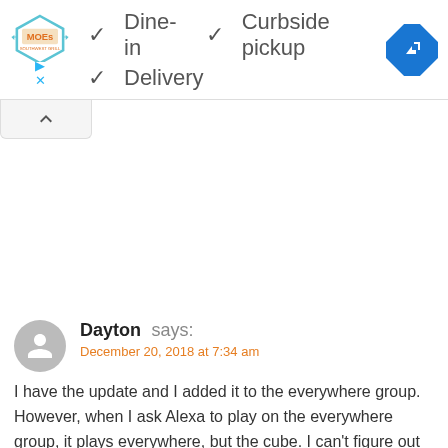[Figure (screenshot): Top bar with MOEs logo, checkmarks for Dine-in, Curbside pickup, Delivery, and a blue navigation/directions icon]
[Figure (screenshot): Collapse/chevron-up tab below the top bar]
Dayton says:
December 20, 2018 at 7:34 am
I have the update and I added it to the everywhere group. However, when I ask Alexa to play on the everywhere group, it plays everywhere, but the cube. I can't figure out how to get it working on the cube. Any thoughts?